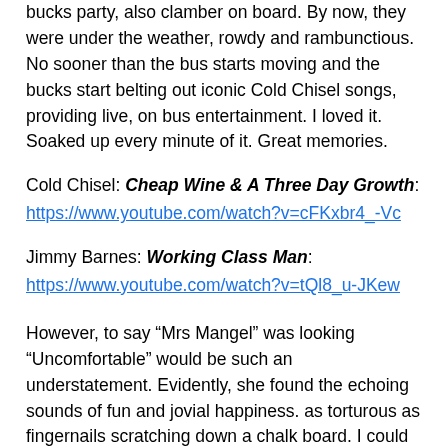bucks party, also clamber on board. By now, they were under the weather, rowdy and rambunctious. No sooner than the bus starts moving and the bucks start belting out iconic Cold Chisel songs, providing live, on bus entertainment. I loved it. Soaked up every minute of it. Great memories.
Cold Chisel: Cheap Wine & A Three Day Growth: https://www.youtube.com/watch?v=cFKxbr4_-Vc
Jimmy Barnes: Working Class Man: https://www.youtube.com/watch?v=tQl8_u-JKew
However, to say “Mrs Mangel” was looking “Uncomfortable” would be such an understatement. Evidently, she found the echoing sounds of fun and jovial happiness. as torturous as fingernails scratching down a chalk board. I could sense the pain in every cell in her body. It was etched across her face and she’s so incredibly uncomfortable. She yearned to get out of here. Get those louts off the bus so she could return to